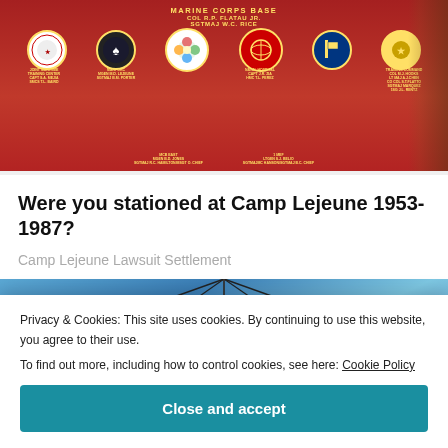[Figure (photo): Red Marine Corps Base sign with military unit badges/seals arranged in a row, text in yellow including unit names and commanders, trees visible on right edge]
Were you stationed at Camp Lejeune 1953-1987?
Camp Lejeune Lawsuit Settlement
[Figure (photo): Blue sky with tent or umbrella structure, geometric lines converging, viewed from below]
Privacy & Cookies: This site uses cookies. By continuing to use this website, you agree to their use.
To find out more, including how to control cookies, see here: Cookie Policy
Close and accept